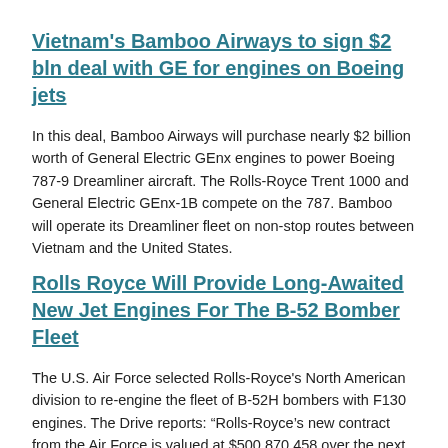Vietnam's Bamboo Airways to sign $2 bln deal with GE for engines on Boeing jets
In this deal, Bamboo Airways will purchase nearly $2 billion worth of General Electric GEnx engines to power Boeing 787-9 Dreamliner aircraft. The Rolls-Royce Trent 1000 and General Electric GEnx-1B compete on the 787. Bamboo will operate its Dreamliner fleet on non-stop routes between Vietnam and the United States.
Rolls Royce Will Provide Long-Awaited New Jet Engines For The B-52 Bomber Fleet
The U.S. Air Force selected Rolls-Royce's North American division to re-engine the fleet of B-52H bombers with F130 engines. The Drive reports: “Rolls-Royce’s new contract from the Air Force is valued at $500,870,458 over the next six